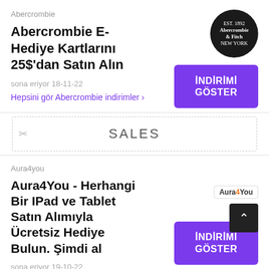Abercrombie
Abercrombie E-Hediye Kartlarını 25$'dan Satın Alın
sona eriyor 18-11-22
Hepsini gör Abercrombie indirimler
[Figure (logo): Abercrombie & Fitch logo, dark circular badge]
[Figure (other): Purple button with text İNDİRİMİ GÖSTER]
SALES
Aura4you
[Figure (logo): Aura4You logo on white background]
Aura4You - Herhangi Bir IPad ve Tablet Satın Alımıyla Ücretsiz Hediye Bulun. Şimdi al
[Figure (other): Purple button with text İNDİRİMİ GÖSTER]
sona eriyor 19-10-22